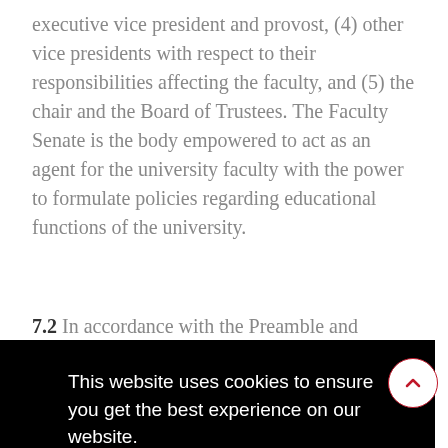executive vice president and provost, (4) other vice presidents with respect to their responsibilities affecting the faculty, and (5) the chair and the Board of Trustees. The Faculty Senate is the body empowered to act as an agent for the university faculty with the power to formulate policies regarding educational functions of the university.
7.2 In accordance with the Preamble and Article
[Figure (screenshot): Cookie consent overlay on a dark black background. Text reads: 'This website uses cookies to ensure you get the best experience on our website.' with a 'Learn more' underlined link and a red 'Got it' button.]
policy decisions concerning admissions and